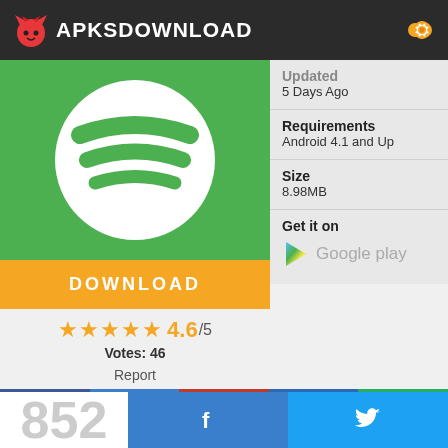APKSDOWNLOAD
[Figure (screenshot): App icon showing Spotify-style logo on green background]
DOWNLOAD
★★★★½ 4.6/5
Votes: 46
Report
Updated
5 Days Ago
Requirements
Android 4.1 and Up
Size
8.98MB
Get it on
Google play
DESCRIPTION
852